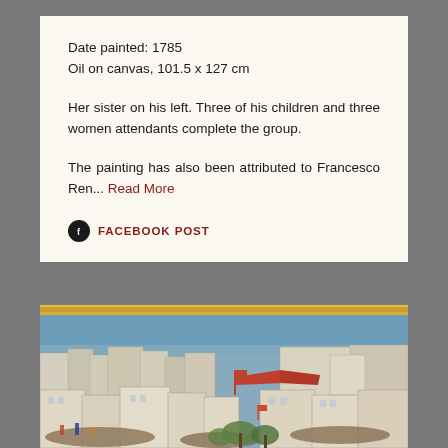Date painted: 1785
Oil on canvas, 101.5 x 127 cm
Her sister on his left. Three of his children and three women attendants complete the group.
The painting has also been attributed to Francesco Ren... Read More
FACEBOOK POST
[Figure (photo): A detailed painting showing an aerial or elevated view of a crowded cityscape with many multi-story buildings, people, and a blue sky with a golden horizon band at the top.]